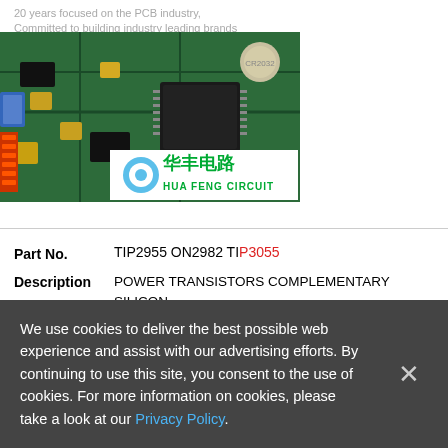20 years focused on the PCB industry, Committed to building industry leading brands
[Figure (photo): PCB circuit board close-up photo with Hua Feng Circuit company logo overlay showing Chinese characters 华丰电路 and English text HUA FENG CIRCUIT]
Part No.   TIP2955 ON2982 TIP3055
Description   POWER TRANSISTORS COMPLEMENTARY SILICON 15 AMPERE POWER TRANSISTORS
From old datasheet system
We use cookies to deliver the best possible web experience and assist with our advertising efforts. By continuing to use this site, you consent to the use of cookies. For more information on cookies, please take a look at our Privacy Policy.